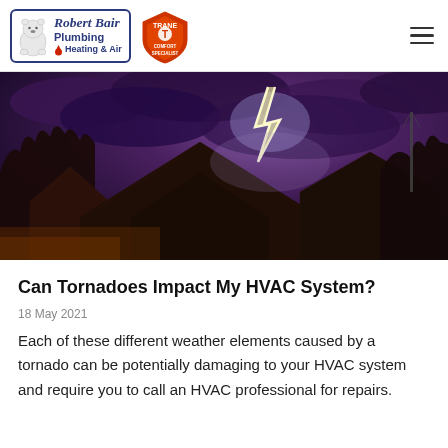Robert Bair Plumbing Heating & Air | Trane Comfort Specialist
[Figure (photo): Dramatic nighttime photo of house rooftops with lightning and purple storm clouds in the background]
Can Tornadoes Impact My HVAC System?
18 May 2021
Each of these different weather elements caused by a tornado can be potentially damaging to your HVAC system and require you to call an HVAC professional for repairs.